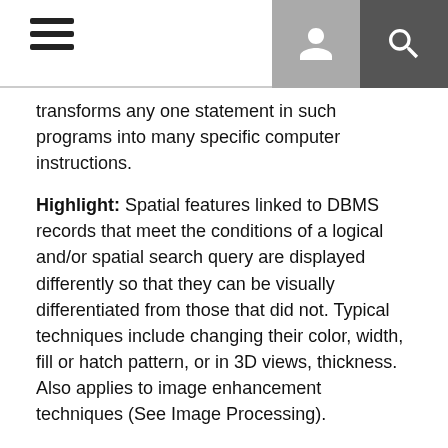Navigation header with hamburger menu, user icon, and search icon
transforms any one statement in such programs into many specific computer instructions.
Highlight: Spatial features linked to DBMS records that meet the conditions of a logical and/or spatial search query are displayed differently so that they can be visually differentiated from those that did not. Typical techniques include changing their color, width, fill or hatch pattern, or in 3D views, thickness. Also applies to image enhancement techniques (See Image Processing).
Homepage: Space on the World Wide Web.
HTML: Acronym for for HyperText Markup Language, a coding alanguage used to create Hytpertext couments for usin the World Wide Web. You can specify that a block of text, or a word, is "linked" to another file on the Intenet.